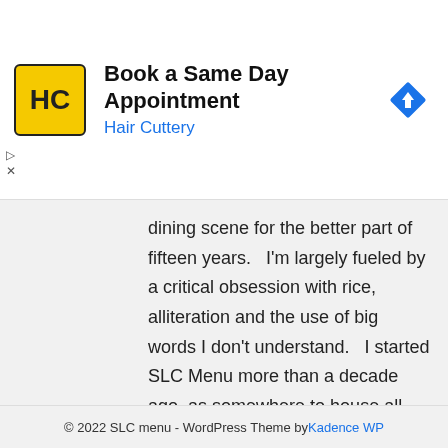[Figure (screenshot): Advertisement banner for Hair Cuttery showing logo, 'Book a Same Day Appointment' heading, 'Hair Cuttery' subtitle in blue, and a navigation arrow icon]
dining scene for the better part of fifteen years.   I'm largely fueled by a critical obsession with rice, alliteration and the use of big words I don't understand.   I started SLC Menu more than a decade ago, as somewhere to house all those hard to find menus I picked up during my food writing travels.
© 2022 SLC menu - WordPress Theme by Kadence WP